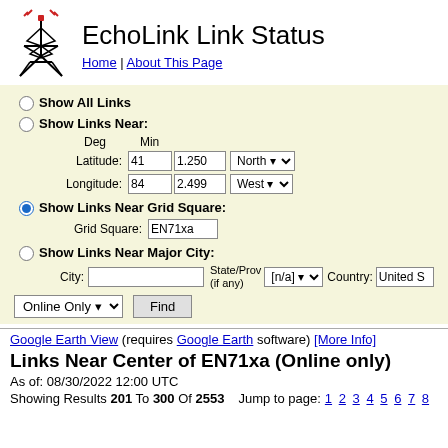EchoLink Link Status
Home | About This Page
Show All Links
Show Links Near:
Show Links Near Grid Square:
Grid Square: EN71xa
Show Links Near Major City:
City: State/Prov (if any) [n/a] Country: United S
Online Only  Find
Google Earth View (requires Google Earth software) [More Info]
Links Near Center of EN71xa (Online only)
As of: 08/30/2022 12:00 UTC
Showing Results 201 To 300 Of 2553   Jump to page: 1 2 3 4 5 6 7 8